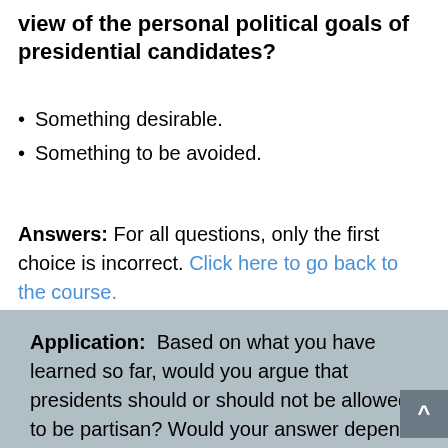view of the personal political goals of presidential candidates?
Something desirable.
Something to be avoided.
Answers: For all questions, only the first choice is incorrect. Click here to go back to the course.
Application: Based on what you have learned so far, would you argue that presidents should or should not be allowed to be partisan? Would your answer depend upon how much power a president has?